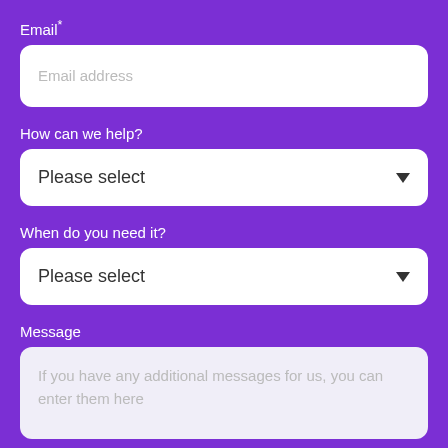Email*
Email address
How can we help?
Please select
When do you need it?
Please select
Message
If you have any additional messages for us, you can enter them here